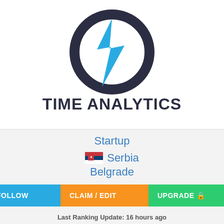[Figure (logo): Time Analytics logo: dark circular clock ring with a blue lightning bolt/hand pointing upper-right, and bold dark text 'TIME ANALYTICS' below]
Startup
🇷🇸 Serbia
Belgrade
FOLLOW   CLAIM / EDIT   UPGRADE 🔒
Last Ranking Update: 16 hours ago